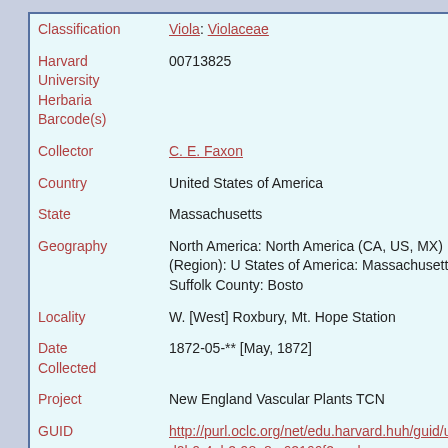| Field | Value |
| --- | --- |
| Classification | Viola: Violaceae |
| Harvard University Herbaria Barcode(s) | 00713825 |
| Collector | C. E. Faxon |
| Country | United States of America |
| State | Massachusetts |
| Geography | North America: North America (CA, US, MX) (Region): United States of America: Massachusetts: Suffolk County: Boston |
| Locality | W. [West] Roxbury, Mt. Hope Station |
| Date Collected | 1872-05-** [May, 1872] |
| Project | New England Vascular Plants TCN |
| GUID | http://purl.oclc.org/net/edu.harvard.huh/guid/uuid/b6c...d0b0-4eb2-98a8-c62166f2aeab |
| Harvard University Herbaria Barcode | 00713825 |
| Herbarium | GH |